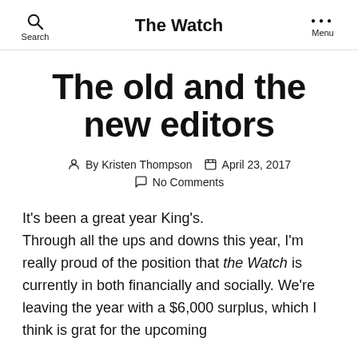The Watch
The old and the new editors
By Kristen Thompson   April 23, 2017   No Comments
It's been a great year King's.
Through all the ups and downs this year, I'm really proud of the position that the Watch is currently in both financially and socially. We're leaving the year with a $6,000 surplus, which I think is grat for the upcoming